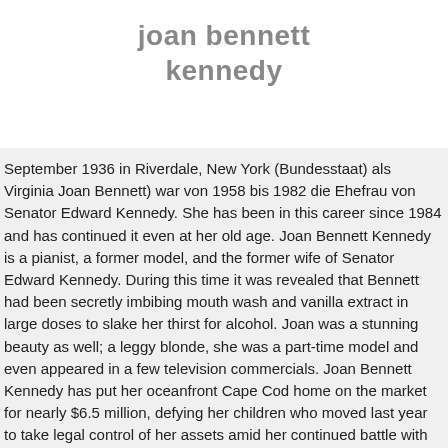joan bennett kennedy
September 1936 in Riverdale, New York (Bundesstaat) als Virginia Joan Bennett) war von 1958 bis 1982 die Ehefrau von Senator Edward Kennedy. She has been in this career since 1984 and has continued it even at her old age. Joan Bennett Kennedy is a pianist, a former model, and the former wife of Senator Edward Kennedy. During this time it was revealed that Bennett had been secretly imbibing mouth wash and vanilla extract in large doses to slake her thirst for alcohol. Joan was a stunning beauty as well; a leggy blonde, she was a part-time model and even appeared in a few television commercials. Joan Bennett Kennedy has put her oceanfront Cape Cod home on the market for nearly $6.5 million, defying her children who moved last year to take legal control of her assets amid her continued battle with alcoholism. United States Senator from Massachusetts, Ted Kennedy sits in Between...